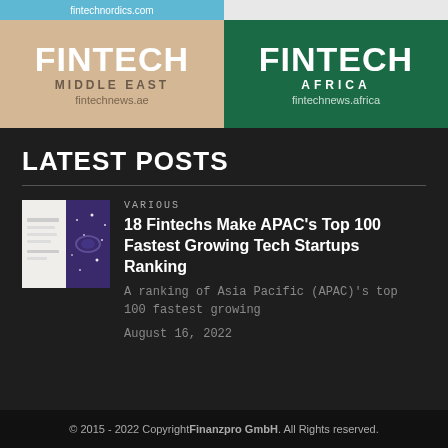[Figure (logo): Fintech Nordics URL bar at top left with blue background showing fintechnordics.com, and a light grey bar on right]
[Figure (logo): Fintech Middle East logo on tan/beige background with FINTECH large text, MIDDLE EAST subtitle, and fintechnews.ae URL]
[Figure (logo): Fintech Africa logo on dark green background with FINTECH large text, AFRICA subtitle, and fintechnews.africa URL]
LATEST POSTS
[Figure (photo): Thumbnail image showing a split of a white device/phone on left and purple/blue galaxy image on right]
VARIOUS
18 Fintechs Make APAC's Top 100 Fastest Growing Tech Startups Ranking
A ranking of Asia Pacific (APAC)'s top 100 fastest growing
August 16, 2022
© 2015 - 2022 Copyright Finanzpro GmbH. All Rights reserved.